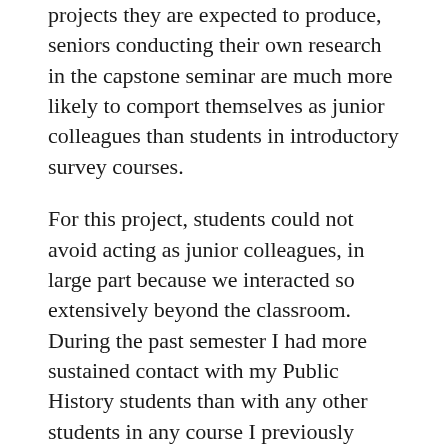projects they are expected to produce, seniors conducting their own research in the capstone seminar are much more likely to comport themselves as junior colleagues than students in introductory survey courses.
For this project, students could not avoid acting as junior colleagues, in large part because we interacted so extensively beyond the classroom. During the past semester I had more sustained contact with my Public History students than with any other students in any course I previously taught, with the exception of a student who researched and wrote a senior thesis under my direction and the possible exception of some of the best and most ambitious seniors in the research seminar. One